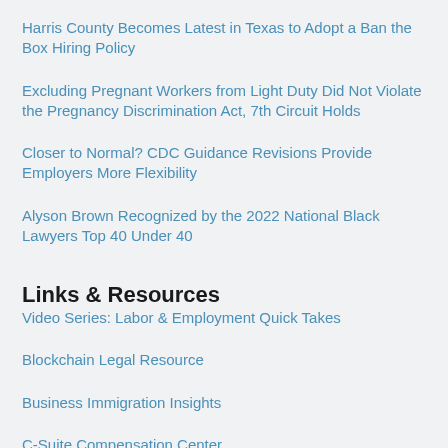Harris County Becomes Latest in Texas to Adopt a Ban the Box Hiring Policy
Excluding Pregnant Workers from Light Duty Did Not Violate the Pregnancy Discrimination Act, 7th Circuit Holds
Closer to Normal? CDC Guidance Revisions Provide Employers More Flexibility
Alyson Brown Recognized by the 2022 National Black Lawyers Top 40 Under 40
Links & Resources
Video Series: Labor & Employment Quick Takes
Blockchain Legal Resource
Business Immigration Insights
C-Suite Compensation Center